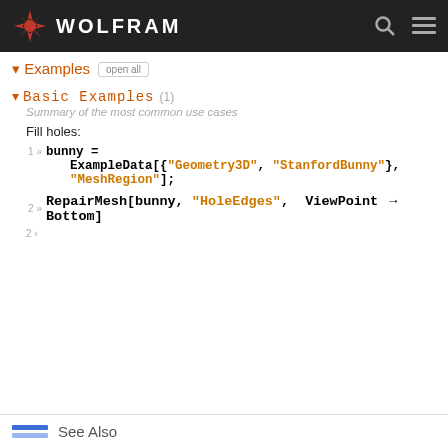WOLFRAM
Examples  open all
Basic Examples (1)
Summary of the most common use cases
Fill holes:
1  bunny = ExampleData[{"Geometry3D", "StanfordBunny"}, "MeshRegion"];
2  RepairMesh[bunny, "HoleEdges",  ViewPoint → Bottom]
2 ›
Scope (8)
Options (11)
See Also